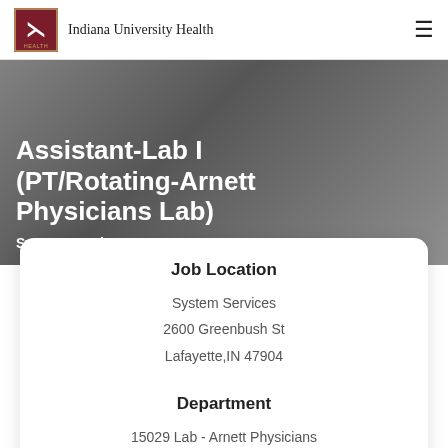Indiana University Health
Assistant-Lab I (PT/Rotating-Arnett Physicians Lab)
System Services
Job Location
System Services
2600 Greenbush St
Lafayette,IN 47904
Department
15029 Lab - Arnett Physicians